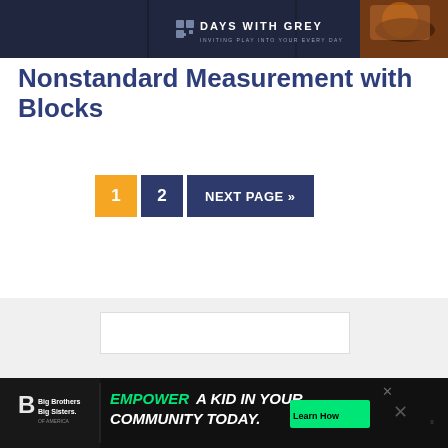[Figure (photo): Days with Grey website header banner with dark background, food photo in upper right corner, and Days With Grey logo with tagline 'Inviting Play Into Your Every Day']
Nonstandard Measurement with Blocks
1  2  NEXT PAGE »
[Figure (screenshot): Gray background section with white ad box placeholder]
[Figure (infographic): Big Brothers Big Sisters advertisement bar: 'EMPOWER A KID IN YOUR COMMUNITY TODAY.' with Learn How button]